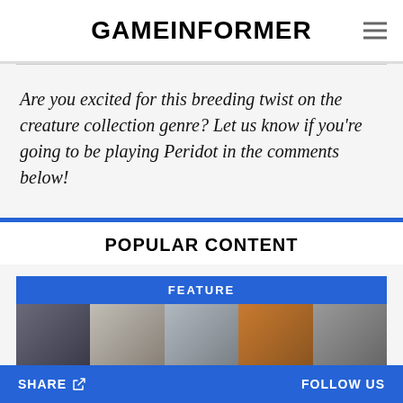GAMEINFORMER
Are you excited for this breeding twist on the creature collection genre? Let us know if you're going to be playing Peridot in the comments below!
POPULAR CONTENT
[Figure (screenshot): Feature section with label 'FEATURE' and a row of game screenshot images below]
SHARE   FOLLOW US